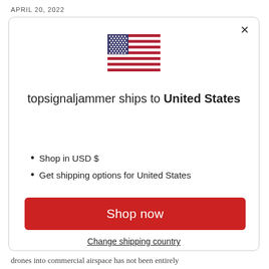APRIL 20, 2022
[Figure (illustration): US flag emoji/icon displayed centered in modal]
topsignaljammer ships to United States
Shop in USD $
Get shipping options for United States
Shop now
Change shipping country
drones into commercial airspace has not been entirely